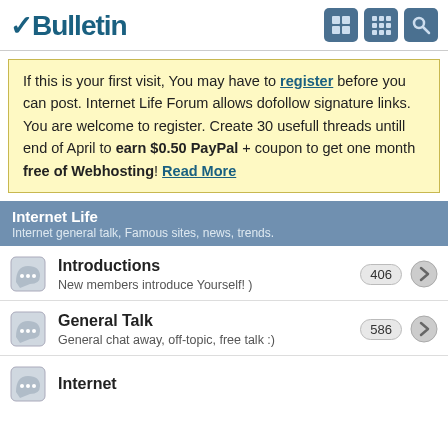vBulletin
If this is your first visit, You may have to register before you can post. Internet Life Forum allows dofollow signature links. You are welcome to register. Create 30 usefull threads untill end of April to earn $0.50 PayPal + coupon to get one month free of Webhosting! Read More
Internet Life
Internet general talk, Famous sites, news, trends.
Introductions
New members introduce Yourself! )
406
General Talk
General chat away, off-topic, free talk :)
586
Internet